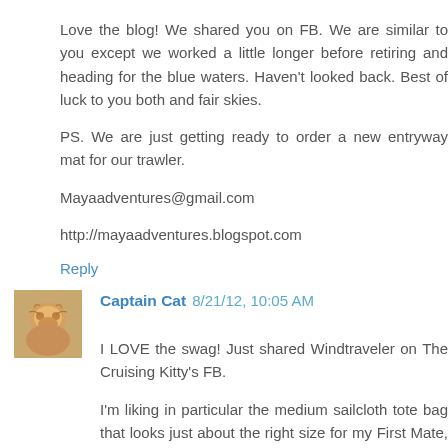Love the blog! We shared you on FB. We are similar to you except we worked a little longer before retiring and heading for the blue waters. Haven't looked back. Best of luck to you both and fair skies.
PS. We are just getting ready to order a new entryway mat for our trawler.
Mayaadventures@gmail.com
http://mayaadventures.blogspot.com
Reply
Captain Cat 8/21/12, 10:05 AM
I LOVE the swag! Just shared Windtraveler on The Cruising Kitty's FB.
I'm liking in particular the medium sailcloth tote bag that looks just about the right size for my First Mate, Can